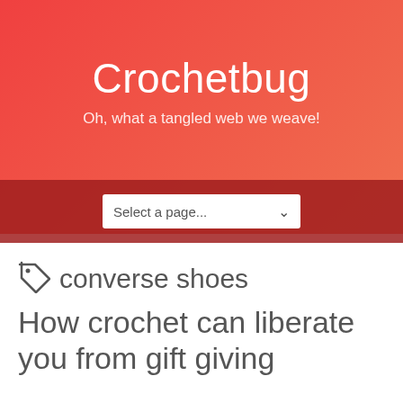Crochetbug
Oh, what a tangled web we weave!
Select a page...
converse shoes
How crochet can liberate you from gift giving